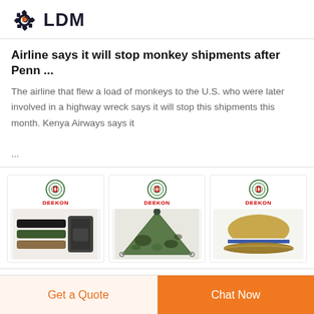[Figure (logo): LDM brand logo with gear and wrench icon in dark navy and orange, with bold text 'LDM']
Airline says it will stop monkey shipments after Penn ...
The airline that flew a load of monkeys to the U.S. who were later involved in a highway wreck says it will stop this shipments this month. Kenya Airways says it ...
[Figure (photo): Three product images from DEEKON brand: military belts/buckles, camouflage poncho/tarp, and military officer cap in tan/blue]
Get a Quote
Chat Now